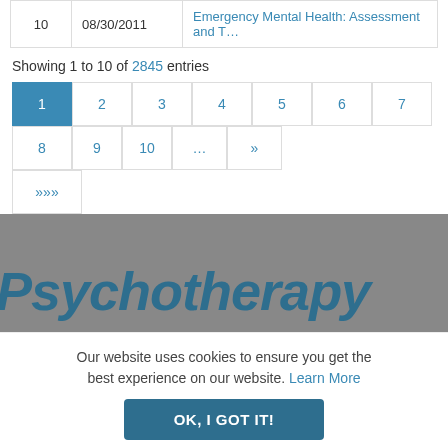| 10 | 08/30/2011 | Emergency Mental Health: Assessment and T... |
Showing 1 to 10 of 2845 entries
Pagination: 1 2 3 4 5 6 7 8 9 10 ... » »»
[Figure (screenshot): Psychotherapy logo in teal italic bold text on gray background]
Our website uses cookies to ensure you get the best experience on our website. Learn More
OK, I GOT IT!